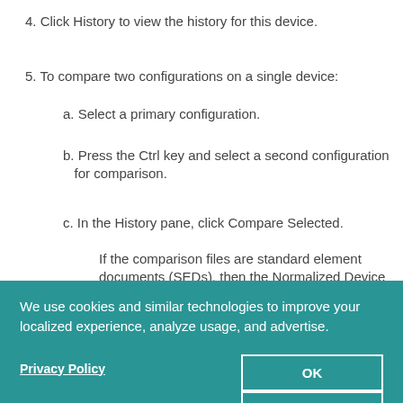4. Click History to view the history for this device.
5. To compare two configurations on a single device:
a. Select a primary configuration.
b. Press the Ctrl key and select a second configuration for comparison.
c. In the History pane, click Compare Selected. If the comparison files are standard element documents (SEDs), then the Normalized Device
We use cookies and similar technologies to improve your localized experience, analyze usage, and advertise.
Privacy Policy
OK
Cookie Settings